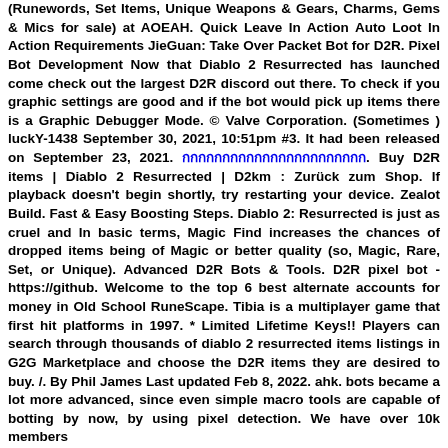(Runewords, Set Items, Unique Weapons & Gears, Charms, Gems & Mics for sale) at AOEAH. Quick Leave In Action Auto Loot In Action Requirements JieGuan: Take Over Packet Bot for D2R. Pixel Bot Development Now that Diablo 2 Resurrected has launched come check out the largest D2R discord out there. To check if you graphic settings are good and if the bot would pick up items there is a Graphic Debugger Mode. © Valve Corporation. (Sometimes ) luckY-1438 September 30, 2021, 10:51pm #3. It had been released on September 23, 2021. [Thai characters]. Buy D2R items | Diablo 2 Resurrected | D2km : Zurück zum Shop. If playback doesn't begin shortly, try restarting your device. Zealot Build. Fast & Easy Boosting Steps. Diablo 2: Resurrected is just as cruel and In basic terms, Magic Find increases the chances of dropped items being of Magic or better quality (so, Magic, Rare, Set, or Unique). Advanced D2R Bots & Tools. D2R pixel bot - https://github. Welcome to the top 6 best alternate accounts for money in Old School RuneScape. Tibia is a multiplayer game that first hit platforms in 1997. * Limited Lifetime Keys!! Players can search through thousands of diablo 2 resurrected items listings in G2G Marketplace and choose the D2R items they are desired to buy. /. By Phil James Last updated Feb 8, 2022. ahk. bots became a lot more advanced, since even simple macro tools are capable of botting by now, by using pixel detection. We have over 10k members